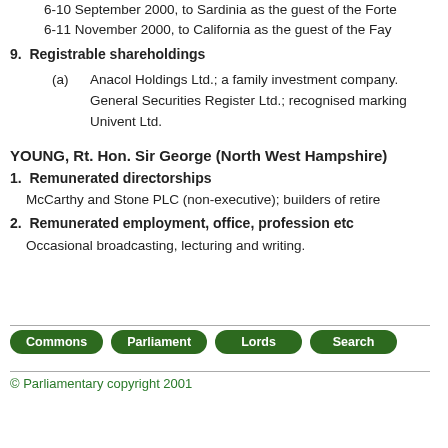6-10 September 2000, to Sardinia as the guest of the Forte
6-11 November 2000, to California as the guest of the Fay
9.  Registrable shareholdings
(a)   Anacol Holdings Ltd.; a family investment company. General Securities Register Ltd.; recognised marking Univent Ltd.
YOUNG, Rt. Hon. Sir George (North West Hampshire)
1.  Remunerated directorships
McCarthy and Stone PLC (non-executive); builders of retire
2.  Remunerated employment, office, profession etc
Occasional broadcasting, lecturing and writing.
[Figure (other): Navigation buttons: Commons, Parliament, Lords, Search]
© Parliamentary copyright 2001